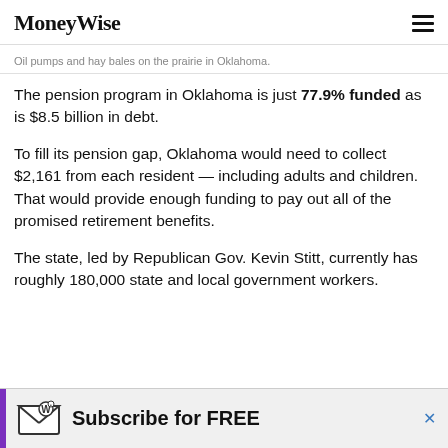MoneyWise
Oil pumps and hay bales on the prairie in Oklahoma.
The pension program in Oklahoma is just 77.9% funded as is $8.5 billion in debt.
To fill its pension gap, Oklahoma would need to collect $2,161 from each resident — including adults and children. That would provide enough funding to pay out all of the promised retirement benefits.
The state, led by Republican Gov. Kevin Stitt, currently has roughly 180,000 state and local government workers.
[Figure (infographic): Advertisement banner: MoneyWise envelope icon with text 'Subscribe for FREE' and a purple side bar and close button]